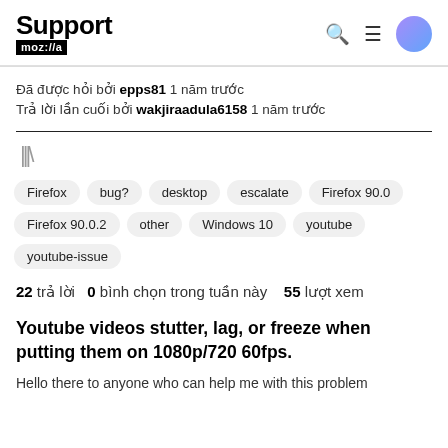Support mozilla:a
Đã được hỏi bởi epps81 1 năm trước
Trả lời lần cuối bởi wakjiraadula6158 1 năm trước
[Figure (illustration): Bookmark/library icon in gray]
Firefox
bug?
desktop
escalate
Firefox 90.0
Firefox 90.0.2
other
Windows 10
youtube
youtube-issue
22 trả lời   0 bình chọn trong tuần này   55 lượt xem
Youtube videos stutter, lag, or freeze when putting them on 1080p/720 60fps.
Hello there to anyone who can help me with this problem